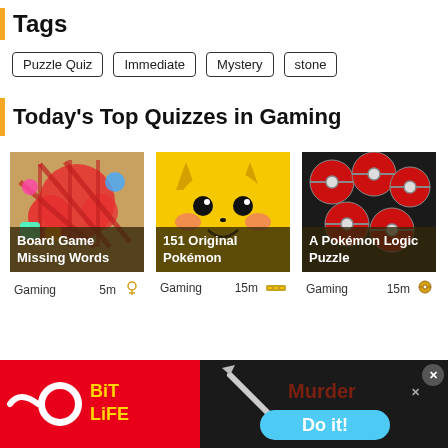Tags
Puzzle Quiz
Immediate
Mystery
stone
Today's Top Quizzes in Gaming
[Figure (photo): Board game pieces photo with colorful plastic shapes, labeled 'Board Game Missing Words', Gaming, 5m]
[Figure (photo): Pikachu face illustration on yellow background, labeled '151 Original Pokémon', Gaming, 15m]
[Figure (photo): Red and grey Pokéball cluster on dark background, labeled 'A Pokémon Logic Puzzle', Gaming, 15m]
[Figure (screenshot): Advertisement banner: BitLife on red background left side, Murder Do it! on dark/blue background right side]